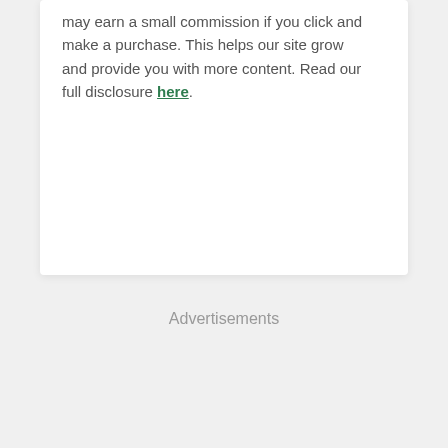may earn a small commission if you click and make a purchase. This helps our site grow and provide you with more content. Read our full disclosure here.
Advertisements